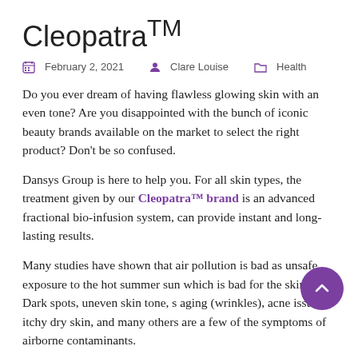Cleopatra™
February 2, 2021   Clare Louise   Health
Do you ever dream of having flawless glowing skin with an even tone? Are you disappointed with the bunch of iconic beauty brands available on the market to select the right product? Don't be so confused.
Dansys Group is here to help you. For all skin types, the treatment given by our Cleopatra™ brand is an advanced fractional bio-infusion system, can provide instant and long-lasting results.
Many studies have shown that air pollution is bad as unsafe exposure to the hot summer sun which is bad for the skin. Dark spots, uneven skin tone, skin aging (wrinkles), acne issues, itchy dry skin, and many others are a few of the symptoms of airborne contaminants.